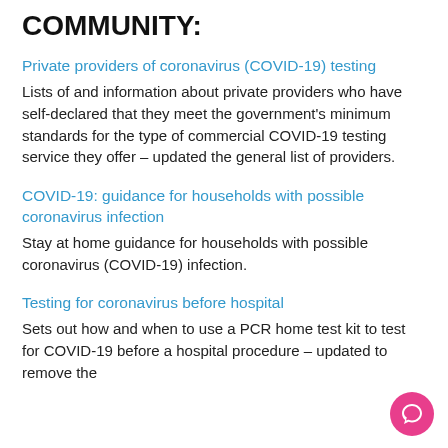COMMUNITY:
Private providers of coronavirus (COVID-19) testing
Lists of and information about private providers who have self-declared that they meet the government's minimum standards for the type of commercial COVID-19 testing service they offer – updated the general list of providers.
COVID-19: guidance for households with possible coronavirus infection
Stay at home guidance for households with possible coronavirus (COVID-19) infection.
Testing for coronavirus before hospital
Sets out how and when to use a PCR home test kit to test for COVID-19 before a hospital procedure – updated to remove the